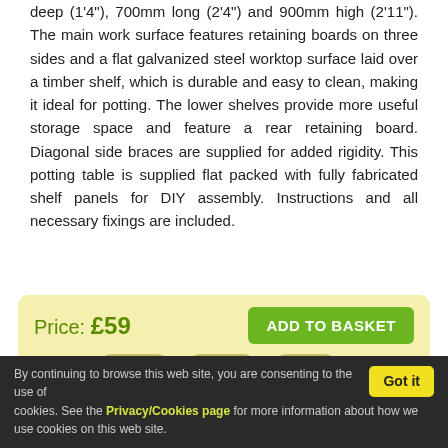deep (1'4"), 700mm long (2'4") and 900mm high (2'11"). The main work surface features retaining boards on three sides and a flat galvanized steel worktop surface laid over a timber shelf, which is durable and easy to clean, making it ideal for potting. The lower shelves provide more useful storage space and feature a rear retaining board. Diagonal side braces are supplied for added rigidity. This potting table is supplied flat packed with fully fabricated shelf panels for DIY assembly. Instructions and all necessary fixings are included.
Price: £59
ADD TO BASKET
Step: 1 Type  2 Size  3 Qty
By continuing to browse this web site, you are consenting to the use of cookies. See the Privacy/Cookies page for more information about how we use cookies on this web site.